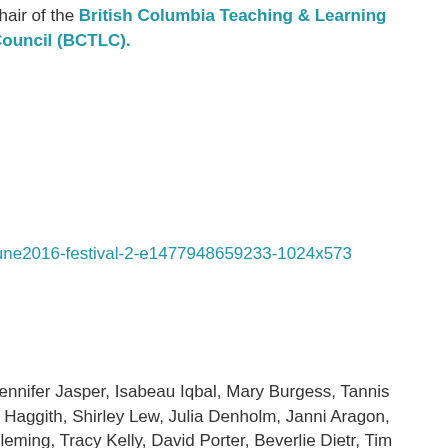chair of the British Columbia Teaching & Learning Council (BCTLC).
june2016-festival-2-e1477948659233-1024x573
Jennifer Jasper, Isabeau Iqbal, Mary Burgess, Tannis n Haggith, Shirley Lew, Julia Denholm, Janni Aragon, Fleming, Tracy Kelly, David Porter, Beverlie Dietr, Tim